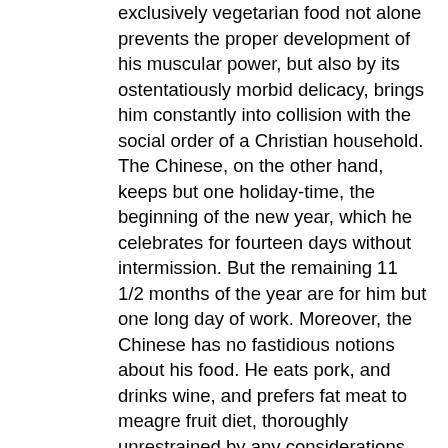exclusively vegetarian food not alone prevents the proper development of his muscular power, but also by its ostentatiously morbid delicacy, brings him constantly into collision with the social order of a Christian household. The Chinese, on the other hand, keeps but one holiday-time, the beginning of the new year, which he celebrates for fourteen days without intermission. But the remaining 11 1/2 months of the year are for him but one long day of work. Moreover, the Chinese has no fastidious notions about his food. He eats pork, and drinks wine, and prefers fat meat to meagre fruit diet, thoroughly unrestrained by any considerations as to whether such a mode of life accords with the institutes of Brahma and Menu, or the teaching of Confucius. Their sobriety, their capacity, their industry, their frugal mode of life, and their numbers, all seem to indicate the Chinese as destined to play an important part, not alone in the development of the Oriental nations, but also in the history of mankind. They are, as a German philosopher has profoundly